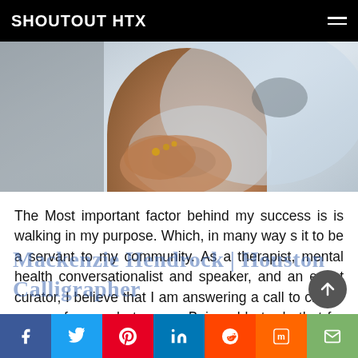SHOUTOUT HTX
[Figure (photo): Cropped photo of a person wearing ripped jeans, hands visible with rings, sitting on a grey surface]
The Most important factor behind my success is is walking in my purpose. Which, in many way s it to be a servant to my community. As a therapist, mental health conversationalist and speaker, and an event curator, I believe that I am answering a call to create spaces for people to grow. Being able to do that for so many years is a success in itself. Read more>>
Mackenzie Hendrock | Houston Calligrapher